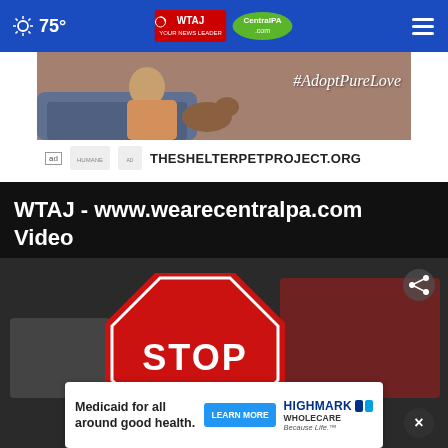75° WTAJ CentralPA.com
[Figure (screenshot): Advertisement banner for TheShelterPetProject.org featuring a person with a pet and text #AdoptPureLove]
THESHELTERPETPROJECT.ORG
WTAJ - www.wearecentralpa.com Video
[Figure (screenshot): Video thumbnail showing a school bus STOP sign extended]
[Figure (screenshot): Advertisement for Highmark Wholecare: Medicaid for all around good health. LEARN MORE. Because Life.]